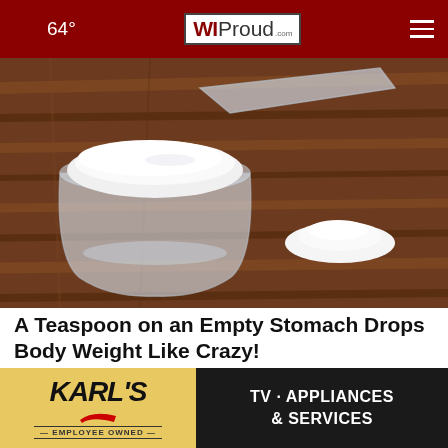64° WIProud.com
[Figure (photo): Measuring cup/scoop filled with white powder (protein powder or similar) on a wooden surface, with a small pile of the white powder beside it]
A Teaspoon on an Empty Stomach Drops Body Weight Like Crazy!
Trending New Finds
[Figure (logo): Karl's TV · Appliances & Services advertisement banner. Karl's logo on golden background left side, TV · APPLIANCES & SERVICES text on dark background right side. EMPLOYEE OWNED tagline.]